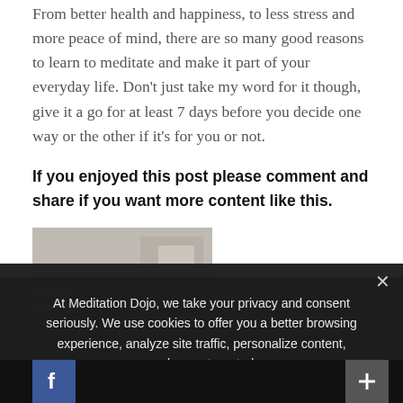From better health and happiness, to less stress and more peace of mind, there are so many good reasons to learn to meditate and make it part of your everyday life. Don't just take my word for it though, give it a go for at least 7 days before you decide one way or the other if it's for you or not.
If you enjoyed this post please comment and share if you want more content like this.
[Figure (photo): Photo of a middle-aged man smiling, wearing a white polo shirt, with a blurred indoor background]
At Meditation Dojo, we take your privacy and consent seriously. We use cookies to offer you a better browsing experience, analyze site traffic, personalize content, and serve targeted